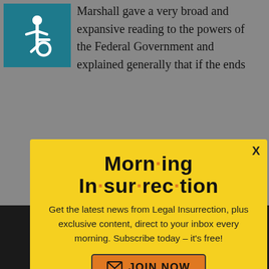[Figure (logo): Wheelchair accessibility icon, white figure on teal/dark cyan background]
Marshall gave a very broad and expansive reading to the powers of the Federal Government and explained generally that if the ends
[Figure (infographic): Morning Insurrection newsletter signup modal popup with yellow background. Title: 'Morn·ing In·sur·rec·tion' in bold black with orange dots. Body text: 'Get the latest news from Legal Insurrection, plus exclusive content, direct to your inbox every morning. Subscribe today – it's free!' Orange JOIN NOW button with envelope icon. X close button in top right.]
interstate commerce was affe and that case eren't going to be thrown out that way. Lopez certainly breathed new life into the Commerce Clau...